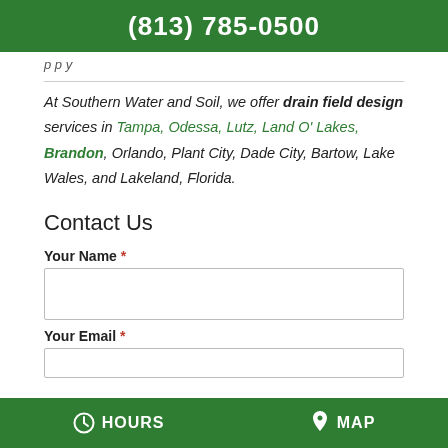(813) 785-0500
p p y
At Southern Water and Soil, we offer drain field design services in Tampa, Odessa, Lutz, Land O' Lakes, Brandon, Orlando, Plant City, Dade City, Bartow, Lake Wales, and Lakeland, Florida.
Contact Us
Your Name *
Your Email *
HOURS   MAP